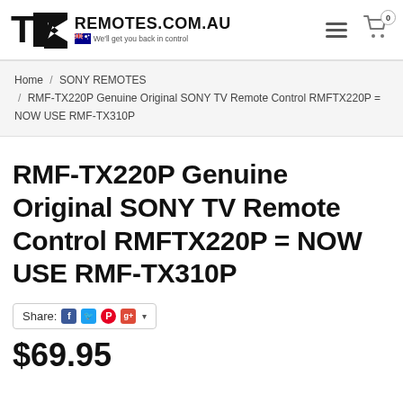TV REMOTES.COM.AU — We'll get you back in control
Home / SONY REMOTES / RMF-TX220P Genuine Original SONY TV Remote Control RMFTX220P = NOW USE RMF-TX310P
RMF-TX220P Genuine Original SONY TV Remote Control RMFTX220P = NOW USE RMF-TX310P
Share: [Facebook] [Twitter] [Pinterest] [Google+] ▾
$69.95